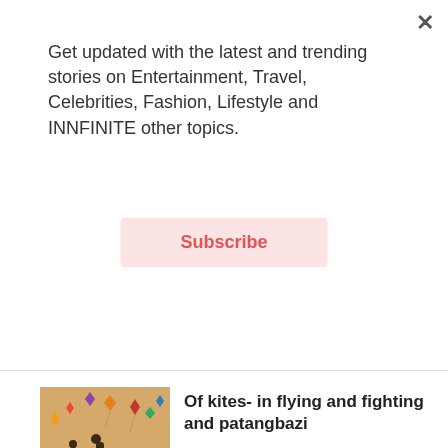Get updated with the latest and trending stories on Entertainment, Travel, Celebrities, Fashion, Lifestyle and INNFINITE other topics.
Subscribe
Of kites- in flying and fighting and patangbazi
Lifestyle
Close ad
Search for
01. Best Retirement Places To Live
04. 10 Best Cities To Live In
07. Modern Living Room Design
02. Best Places To Live In Virginia
05. Best Places To Travel
08. Cheapest Cities To Live In
03. Safest Cities To Live In
06. 10 Best Retirement Towns
09. Live Music Concert
Yahoo!Search | Sponsored